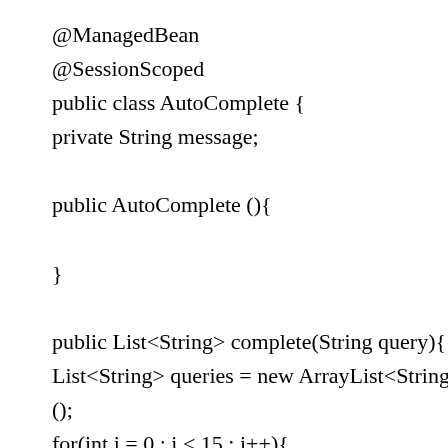@ManagedBean
@SessionScoped
public class AutoComplete {
private String message;

public AutoComplete (){

}

public List<String> complete(String query){
List<String> queries = new ArrayList<String>
();
for(int i = 0 ; i < 15 ; i++){
queries.add(query+i);
}